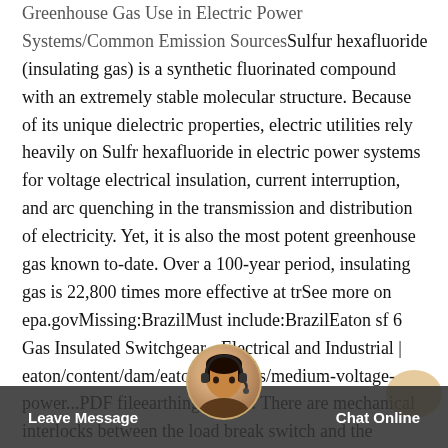Greenhouse Gas Use in Electric Power Systems/Common Emission SourcesSulfur hexafluoride (insulating gas) is a synthetic fluorinated compound with an extremely stable molecular structure. Because of its unique dielectric properties, electric utilities rely heavily on Sulfr hexafluoride in electric power systems for voltage electrical insulation, current interruption, and arc quenching in the transmission and distribution of electricity. Yet, it is also the most potent greenhouse gas known to-date. Over a 100-year period, insulating gas is 22,800 times more effective at trSee more on epa.govMissing:BrazilMust include:BrazilEaton sf 6 Gas Insulated Switchgear - Electrical and Industrial | eaton/content/dam/eaton/products/medium-voltage-power...PDF fileearthing switch. There are mechanical interlocks between the load break switch and the earthing switch. † All primary high-voltage components are completely enclosed in Sulfr hexafluoride gas tank, free from environment impact, thus ensuring fully
Leave Message   Chat Online